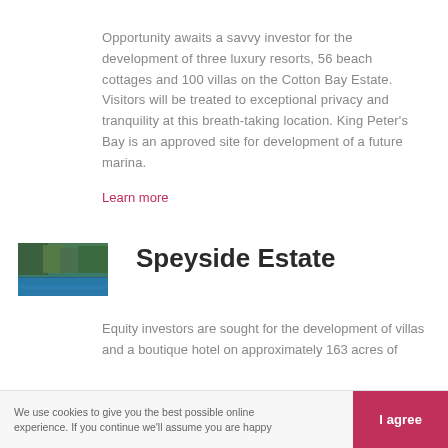Opportunity awaits a savvy investor for the development of three luxury resorts, 56 beach cottages and 100 villas on the Cotton Bay Estate. Visitors will be treated to exceptional privacy and tranquility at this breath-taking location. King Peter's Bay is an approved site for development of a future marina.
Learn more
[Figure (photo): Aerial or shoreline view of Speyside Estate showing trees and water]
Speyside Estate
Equity investors are sought for the development of villas and a boutique hotel on approximately 163 acres of...
We use cookies to give you the best possible online experience. If you continue we'll assume you are happy
I agree